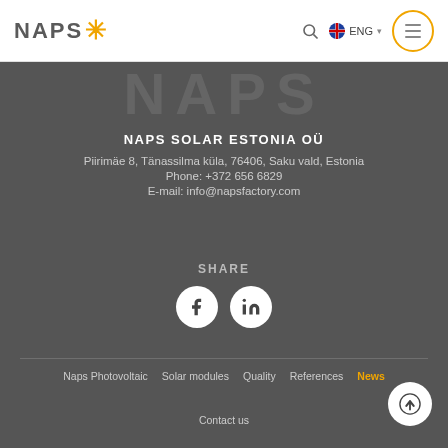NAPS* ENG (navigation bar with search and menu)
[Figure (logo): Faded NAPS watermark logo in dark background area]
NAPS SOLAR ESTONIA OÜ
Piirimäe 8, Tänassilma küla, 76406, Saku vald, Estonia
Phone: +372 656 6829
E-mail: info@napsfactory.com
SHARE
[Figure (illustration): Facebook and LinkedIn social share icons as white circles on dark background]
Naps Photovoltaic
Solar modules
Quality
References
News
Contact us
[Figure (illustration): Back to top arrow button — white circle with upward arrow]